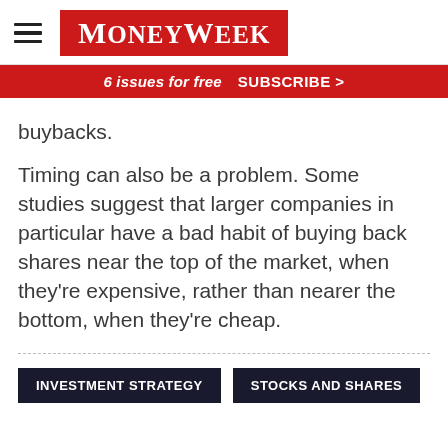MoneyWeek
6 issues for free  SUBSCRIBE >
buybacks.
Timing can also be a problem. Some studies suggest that larger companies in particular have a bad habit of buying back shares near the top of the market, when they're expensive, rather than nearer the bottom, when they're cheap.
INVESTMENT STRATEGY
STOCKS AND SHARES